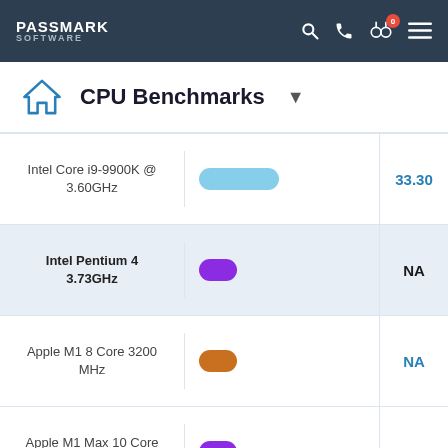PassMark Software
CPU Benchmarks
| CPU | Bar | Score |
| --- | --- | --- |
| Intel Core i9-9900K @ 3.60GHz | (bar) | 33.30 |
| Intel Pentium 4 3.73GHz | (bar) | NA |
| Apple M1 8 Core 3200 MHz | (bar) | NA |
| Apple M1 Max 10 Core 3200 MHz | (bar) | NA |